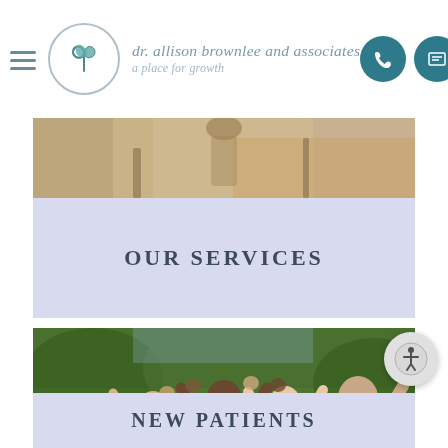dr. allison brownlee and associates a place for growth
[Figure (photo): Partial view of a person outdoors, warm tones, top image strip]
OUR SERVICES
[Figure (photo): Group of diverse people smiling and holding hands raised in the air outdoors]
NEW PATIENTS